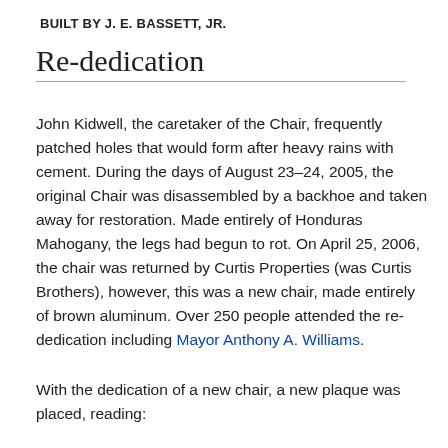BUILT BY J. E. BASSETT, JR.
Re-dedication
John Kidwell, the caretaker of the Chair, frequently patched holes that would form after heavy rains with cement. During the days of August 23–24, 2005, the original Chair was disassembled by a backhoe and taken away for restoration. Made entirely of Honduras Mahogany, the legs had begun to rot. On April 25, 2006, the chair was returned by Curtis Properties (was Curtis Brothers), however, this was a new chair, made entirely of brown aluminum. Over 250 people attended the re-dedication including Mayor Anthony A. Williams.
With the dedication of a new chair, a new plaque was placed, reading: